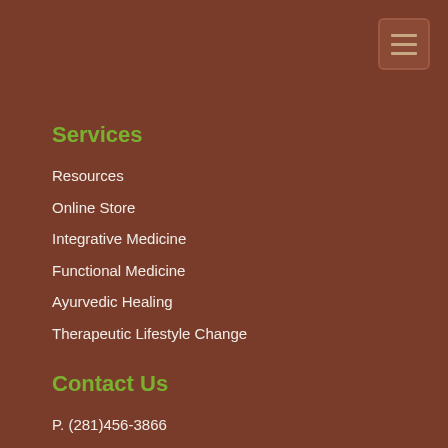Navigation menu button
Services
Resources
Online Store
Integrative Medicine
Functional Medicine
Ayurvedic Healing
Therapeutic Lifestyle Change
Contact Us
P. (281)456-3866
F. (281)313-1705
E. praanaim@gmail.com
1435 Hwy 6, Suite 101